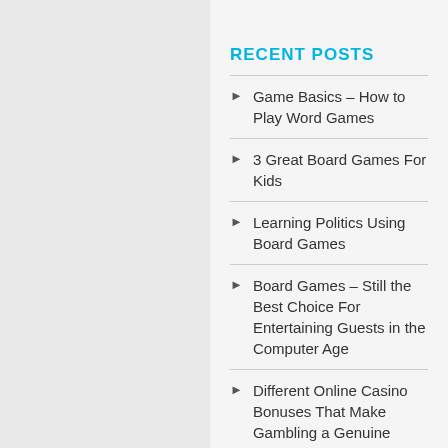RECENT POSTS
Game Basics – How to Play Word Games
3 Great Board Games For Kids
Learning Politics Using Board Games
Board Games – Still the Best Choice For Entertaining Guests in the Computer Age
Different Online Casino Bonuses That Make Gambling a Genuine Habit
ARCHIVES